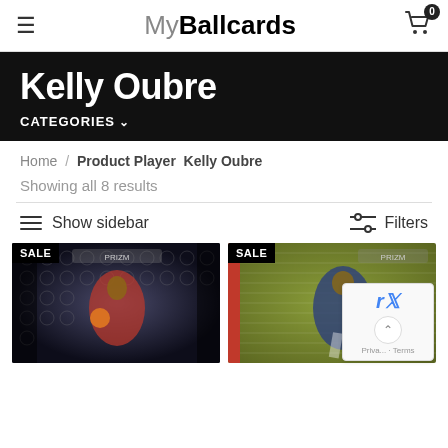MyBallcards
Kelly Oubre
CATEGORIES ∨
Home / Product Player  Kelly Oubre
Showing all 8 results
Show sidebar
Filters
[Figure (photo): Basketball card with SALE badge - Kelly Oubre Prizm holographic card]
[Figure (photo): Basketball card with SALE badge - Prizm card with red border, player running]